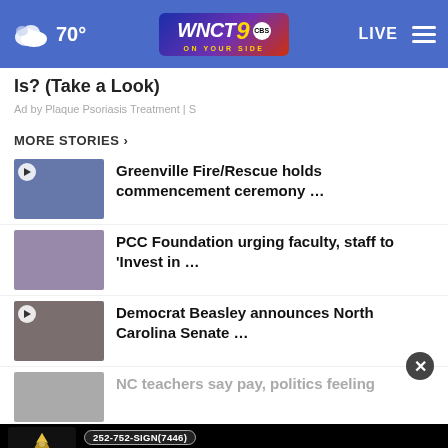WNCT 9 ON YOUR SIDE — 70° — LIVE
Is? (Take a Look)
Ad by Plaque Psoriasis Treatment | S
MORE STORIES ›
Greenville Fire/Rescue holds commencement ceremony …
PCC Foundation urging faculty, staff to 'Invest in …
Democrat Beasley announces North Carolina Senate …
NC teachers say pay, politics feeling
[Figure (screenshot): Phoenix Sign Pros advertisement banner — 252-752-SIGN(7446) — Total Graphic Solutions from Concept to Doorstep]
More stories…